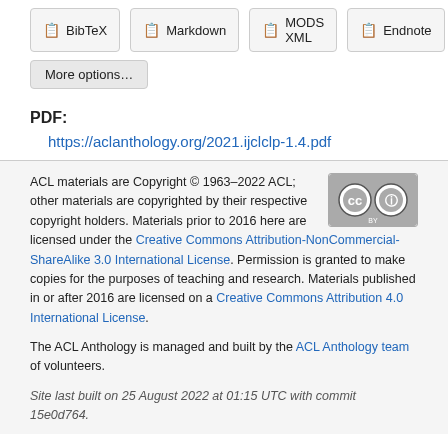BibTeX  Markdown  MODS XML  Endnote
More options…
PDF:
https://aclanthology.org/2021.ijclclp-1.4.pdf
ACL materials are Copyright © 1963–2022 ACL; other materials are copyrighted by their respective copyright holders. Materials prior to 2016 here are licensed under the Creative Commons Attribution-NonCommercial-ShareAlike 3.0 International License. Permission is granted to make copies for the purposes of teaching and research. Materials published in or after 2016 are licensed on a Creative Commons Attribution 4.0 International License.
The ACL Anthology is managed and built by the ACL Anthology team of volunteers.
Site last built on 25 August 2022 at 01:15 UTC with commit 15e0d764.